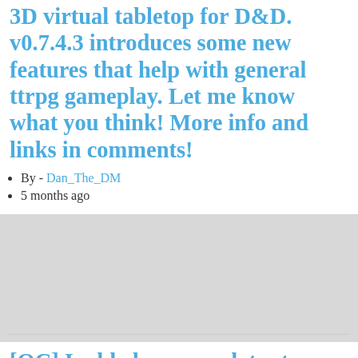3D virtual tabletop for D&D. v0.7.4.3 introduces some new features that help with general ttrpg gameplay. Let me know what you think! More info and links in comments!
By - Dan_The_DM
5 months ago
[OC] I added some updates to my 3D virtual tabletop for D&D. v0.7.4.3 introduces some new features that help with general ttrpg gameplay. Let me know what you think! More info and links in